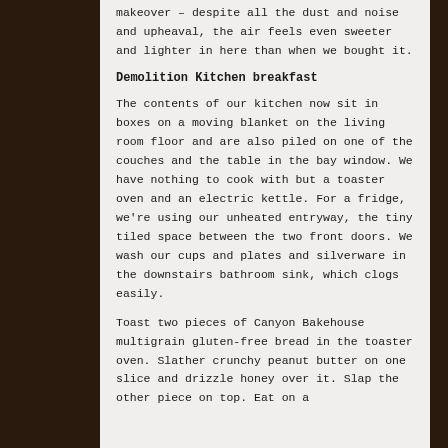makeover – despite all the dust and noise and upheaval, the air feels even sweeter and lighter in here than when we bought it.
Demolition Kitchen breakfast
The contents of our kitchen now sit in boxes on a moving blanket on the living room floor and are also piled on one of the couches and the table in the bay window. We have nothing to cook with but a toaster oven and an electric kettle. For a fridge, we're using our unheated entryway, the tiny tiled space between the two front doors. We wash our cups and plates and silverware in the downstairs bathroom sink, which clogs easily.
Toast two pieces of Canyon Bakehouse multigrain gluten-free bread in the toaster oven. Slather crunchy peanut butter on one slice and drizzle honey over it. Slap the other piece on top. Eat on a